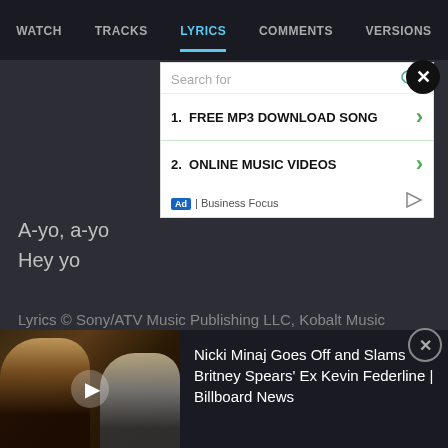WATCH  TRACKS  LYRICS  COMMENTS  VERSIONS
[Figure (screenshot): Advertisement box with 'Search for' header, two items: 1. FREE MP3 DOWNLOAD SONG, 2. ONLINE MUSIC VIDEOS, with Business Focus branding]
A-yo, a-yo
Hey yo
Lyrics © Sony/ATV Music Publishing LLC, Kobalt Music Publishing Ltd., BMG Rights Management, CONCORD MUSIC PUBLISHING LLC, CYPMP
Written by: Stefani J Germanotta, Michael Tucker, Mark Ronson, Hillary Lee Lindsey
[Figure (photo): Video thumbnail showing two women performing on stage (Britney Spears and Nicki Minaj) with a play button overlay]
Nicki Minaj Goes Off and Slams Britney Spears' Ex Kevin Federline | Billboard News